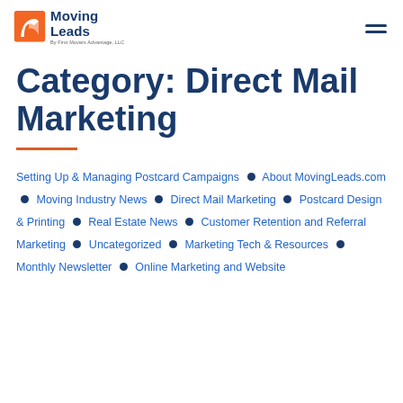Moving Leads – By First Movers Advantage, LLC
Category: Direct Mail Marketing
Setting Up & Managing Postcard Campaigns • About MovingLeads.com • Moving Industry News • Direct Mail Marketing • Postcard Design & Printing • Real Estate News • Customer Retention and Referral Marketing • Uncategorized • Marketing Tech & Resources • Monthly Newsletter • Online Marketing and Website